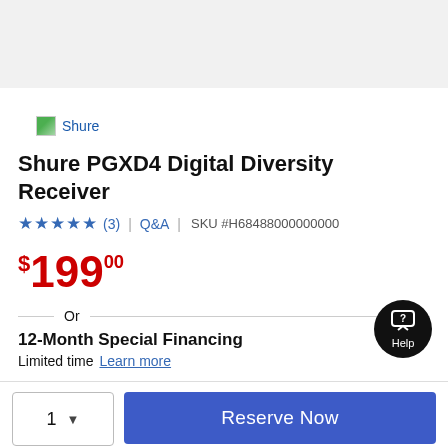[Figure (logo): Shure brand logo with small image icon and blue 'Shure' text link]
Shure PGXD4 Digital Diversity Receiver
★★★★★ (3) | Q&A | SKU #H68488000000000
$199.00
Or
12-Month Special Financing
Limited time  Learn more
1 ▾   Reserve Now